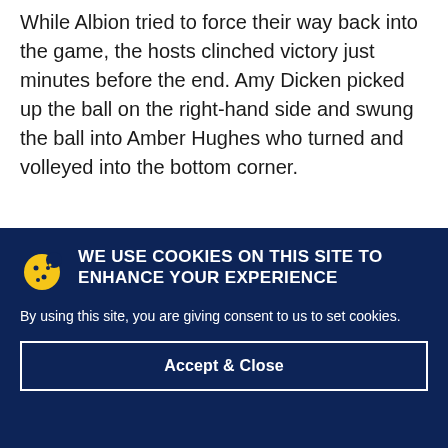While Albion tried to force their way back into the game, the hosts clinched victory just minutes before the end. Amy Dicken picked up the ball on the right-hand side and swung the ball into Amber Hughes who turned and volleyed into the bottom corner.
WE USE COOKIES ON THIS SITE TO ENHANCE YOUR EXPERIENCE
By using this site, you are giving consent to us to set cookies.
Accept & Close